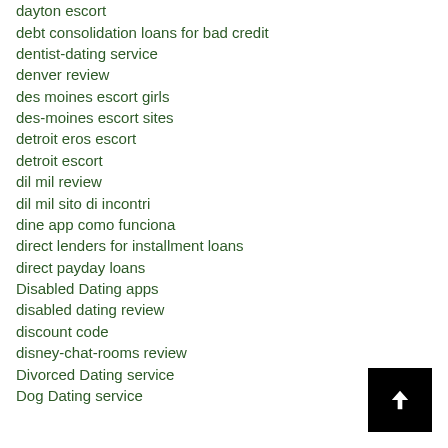dayton escort
debt consolidation loans for bad credit
dentist-dating service
denver review
des moines escort girls
des-moines escort sites
detroit eros escort
detroit escort
dil mil review
dil mil sito di incontri
dine app como funciona
direct lenders for installment loans
direct payday loans
Disabled Dating apps
disabled dating review
discount code
disney-chat-rooms review
Divorced Dating service
Dog Dating service